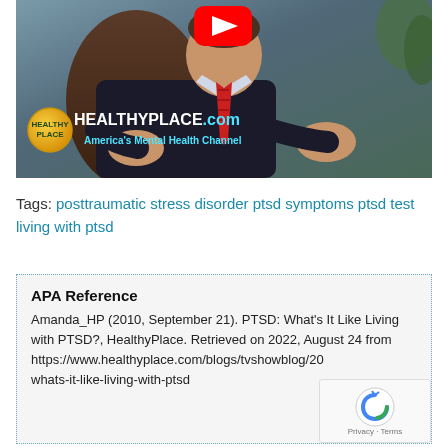[Figure (screenshot): YouTube video thumbnail showing a man in a suit and red tie gesturing with hands, with HealthyPlace.com logo and tagline 'America's Mental Health Channel' overlaid. YouTube play button visible at top center.]
Tags: posttraumatic stress disorder ptsd symptoms ptsd test living with ptsd
APA Reference
Amanda_HP (2010, September 21). PTSD: What's It Like Living with PTSD?, HealthyPlace. Retrieved on 2022, August 24 from https://www.healthyplace.com/blogs/tvshowblog/2010/09/whats-it-like-living-with-ptsd